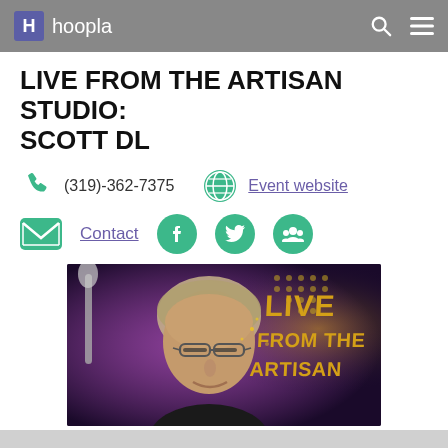hoopla
LIVE FROM THE ARTISAN STUDIO: SCOTT DL
(319)-362-7375
Event website
Contact
[Figure (photo): A man with glasses and grey-blond hair smiling, performing live music on stage with purple and gold stage lighting, overlaid with the text 'LIVE FROM THE ARTISAN' in gold letters.]